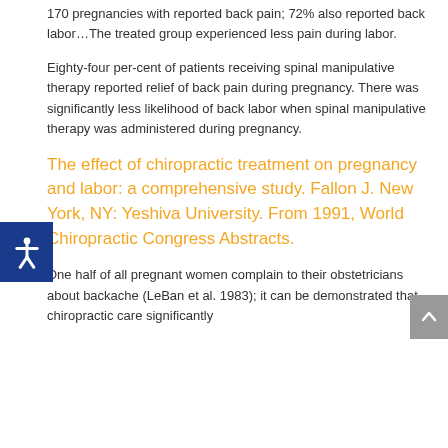170 pregnancies with reported back pain; 72% also reported back labor…The treated group experienced less pain during labor.
Eighty-four per-cent of patients receiving spinal manipulative therapy reported relief of back pain during pregnancy. There was significantly less likelihood of back labor when spinal manipulative therapy was administered during pregnancy.
The effect of chiropractic treatment on pregnancy and labor: a comprehensive study. Fallon J. New York, NY: Yeshiva University. From 1991, World Chiropractic Congress Abstracts.
One half of all pregnant women complain to their obstetricians about backache (LeBan et al. 1983); it can be demonstrated that chiropractic care significantly